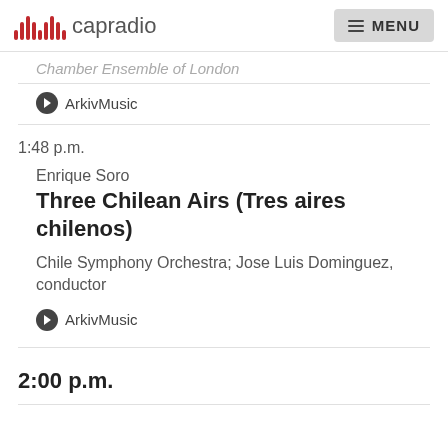capradio MENU
Chamber Ensemble of London
ArkivMusic
1:48 p.m.
Enrique Soro
Three Chilean Airs (Tres aires chilenos)
Chile Symphony Orchestra; Jose Luis Dominguez, conductor
ArkivMusic
2:00 p.m.